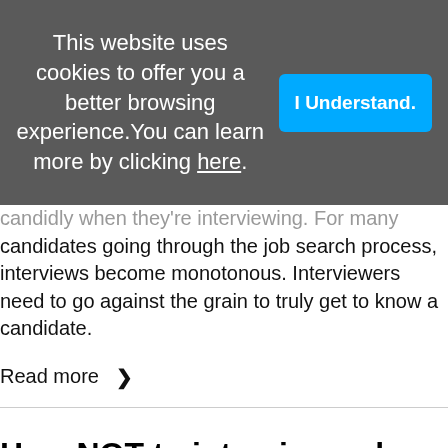[Figure (screenshot): Cookie consent banner with gray background, text reading 'This website uses cookies to offer you a better browsing experience. You can learn more by clicking here.' and a blue 'I Understand.' button.]
...candidly when they're interviewing. For many candidates going through the job search process, interviews become monotonous. Interviewers need to go against the grain to truly get to know a candidate.
Read more >
How NOT to interview sales people